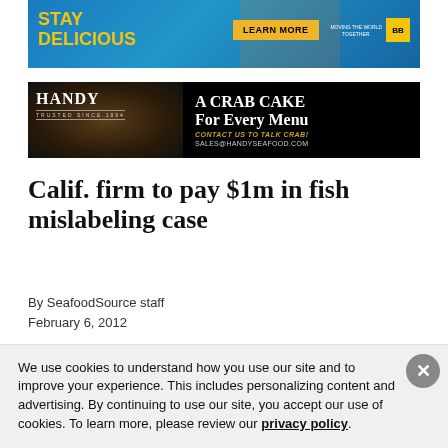[Figure (photo): Stay Delicious advertisement banner with shrimp and chopsticks on blue background, Learn More button, Moving the World Together branding]
[Figure (photo): Handy Seafood advertisement: A Crab Cake For Every Menu - Contact Us To Talk Crab! sales@handyseafood.com, with crab cake food photo on dark background]
Calif. firm to pay $1m in fish mislabeling case
By SeafoodSource staff
February 6, 2012
We use cookies to understand how you use our site and to improve your experience. This includes personalizing content and advertising. By continuing to use our site, you accept our use of cookies. To learn more, please review our privacy policy.